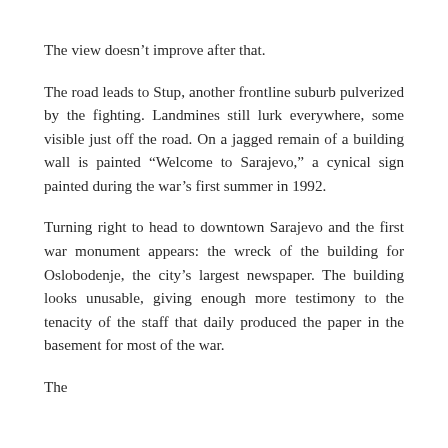The view doesn't improve after that.
The road leads to Stup, another frontline suburb pulverized by the fighting. Landmines still lurk everywhere, some visible just off the road. On a jagged remain of a building wall is painted “Welcome to Sarajevo,” a cynical sign painted during the war’s first summer in 1992.
Turning right to head to downtown Sarajevo and the first war monument appears: the wreck of the building for Oslobodenje, the city’s largest newspaper. The building looks unusable, giving enough more testimony to the tenacity of the staff that daily produced the paper in the basement for most of the war.
The road leads to downtown Sarajevo and the